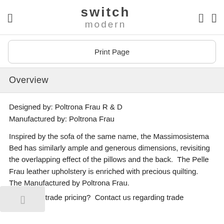switch modern
Print Page
Overview
Designed by: Poltrona Frau R & D
Manufactured by: Poltrona Frau
Inspired by the sofa of the same name, the Massimosistema Bed has similarly ample and generous dimensions, revisiting the overlapping effect of the pillows and the back.  The Pelle Frau leather upholstery is enriched with precious quilting.  The Manufactured by Poltrona Frau.
Qualify for trade pricing?  Contact us regarding trade